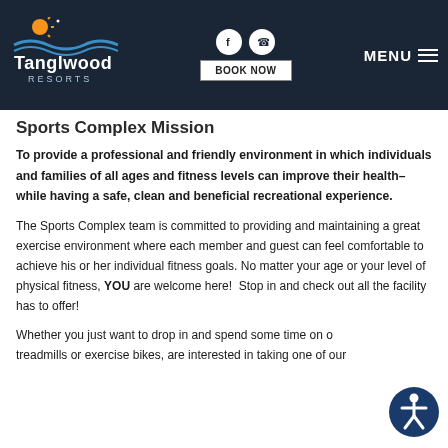Tanglwood Resorts — navigation bar with BOOK NOW and MENU
Sports Complex Mission
To provide a professional and friendly environment in which individuals and families of all ages and fitness levels can improve their health–while having a safe, clean and beneficial recreational experience.
The Sports Complex team is committed to providing and maintaining a great exercise environment where each member and guest can feel comfortable to achieve his or her individual fitness goals. No matter your age or your level of physical fitness, YOU are welcome here!  Stop in and check out all the facility has to offer!
Whether you just want to drop in and spend some time on our treadmills or exercise bikes, are interested in taking one of our